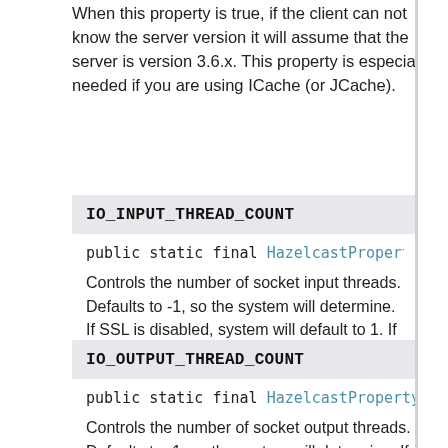When this property is true, if the client can not know the server version it will assume that the server is version 3.6.x. This property is especially needed if you are using ICache (or JCache).
IO_INPUT_THREAD_COUNT
public static final HazelcastProperty IO_INPUT_TH
Controls the number of socket input threads. Defaults to -1, so the system will determine. If SSL is disabled, system will default to 1. If SSL is enabled, system will default to 3.
IO_OUTPUT_THREAD_COUNT
public static final HazelcastProperty IO_OUTPUT_T
Controls the number of socket output threads. Defaults to -1, so the system will determine. If SSL is disabled, system will default to 1. If SSL is enabled, system will default to 3.